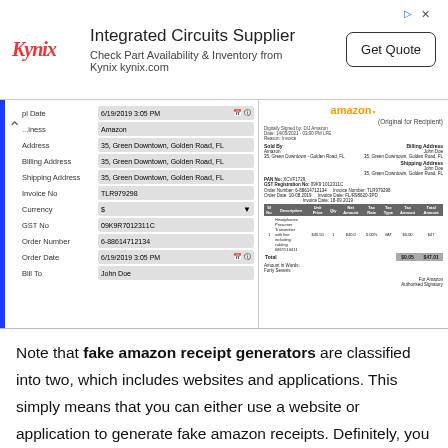[Figure (screenshot): Advertisement banner for Kynix Integrated Circuits Supplier with logo, text, and Get Quote button]
[Figure (screenshot): Screenshots of a fake Amazon receipt generator tool showing a form on the left with fields like Address, Billing Address, Shipping Address, Invoice No, Currency, GST No, Order Number, Order Date, Bill To; and on the right an Amazon invoice/receipt preview]
Note that fake amazon receipt generators are classified into two, which includes websites and applications. This simply means that you can either use a website or application to generate fake amazon receipts. Definitely, you will learn how to use both of these generators in this article.